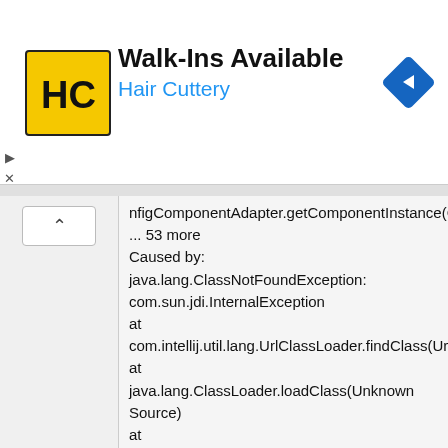[Figure (screenshot): Hair Cuttery advertisement banner with logo, 'Walk-Ins Available' heading, and navigation arrow icon]
nfigComponentAdapter.getComponentInstance(ComponentManagerImpl.java:468)
... 53 more
Caused by:
java.lang.ClassNotFoundException: com.sun.jdi.InternalException
at
com.intellij.util.lang.UrlClassLoader.findClass(UrlClassLoader.java:230)
at
java.lang.ClassLoader.loadClass(Unknown Source)
at
java.lang.ClassLoader.loadClass(Unknown Source)
... 63 more